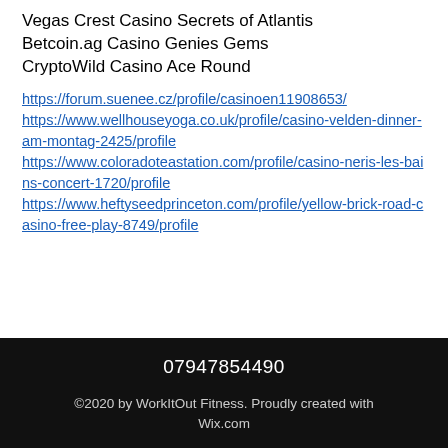Vegas Crest Casino Secrets of Atlantis
Betcoin.ag Casino Genies Gems
CryptoWild Casino Ace Round
https://forum.suenee.cz/profile/casinoen11908653/
https://www.wellhouseyoga.co.uk/profile/casino-velden-dinner-am-montag-2425/profile
https://www.coloradoteastation.com/profile/casino-neris-les-bains-concert-1720/profile
https://www.heftyseedprinceton.com/profile/yellow-brick-road-casino-free-play-8749/profile
07947854490
©2020 by WorkItOut Fitness. Proudly created with Wix.com